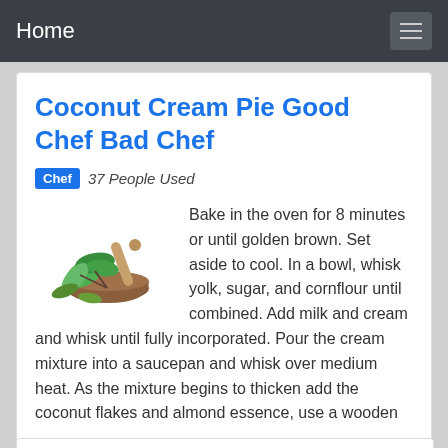Home
Coconut Cream Pie Good Chef Bad Chef
Chef 37 People Used
[Figure (photo): Herbs and spices with mortar and pestle — green leaves and brown wooden bowl]
Bake in the oven for 8 minutes or until golden brown. Set aside to cool. In a bowl, whisk yolk, sugar, and cornflour until combined. Add milk and cream and whisk until fully incorporated. Pour the cream mixture into a saucepan and whisk over medium heat. As the mixture begins to thicken add the coconut flakes and almond essence, use a wooden
Preview / Show details